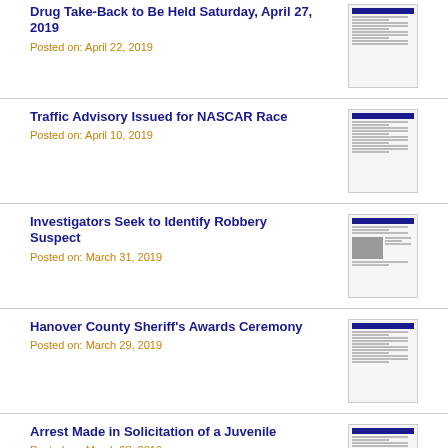Drug Take-Back to Be Held Saturday, April 27, 2019
Posted on: April 22, 2019
[Figure (screenshot): Thumbnail of a press release document]
Traffic Advisory Issued for NASCAR Race
Posted on: April 10, 2019
[Figure (screenshot): Thumbnail of a press release document]
Investigators Seek to Identify Robbery Suspect
Posted on: March 31, 2019
[Figure (screenshot): Thumbnail of a press release document with photo]
Hanover County Sheriff's Awards Ceremony
Posted on: March 29, 2019
[Figure (screenshot): Thumbnail of a press release document]
Arrest Made in Solicitation of a Juvenile
Posted on: March 28, 2019
[Figure (screenshot): Thumbnail of a press release document with accessibility icon overlay]